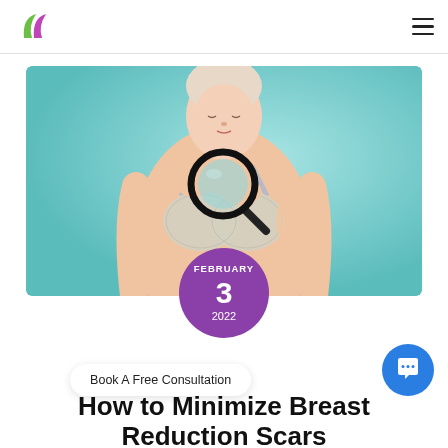Logo and navigation header
[Figure (photo): Woman in gray bra holding a magnifying glass to her chest area, against a teal/turquoise background]
FEBRUARY 3 2022
Book A Free Consultation
How to Minimize Breast Reduction Scars